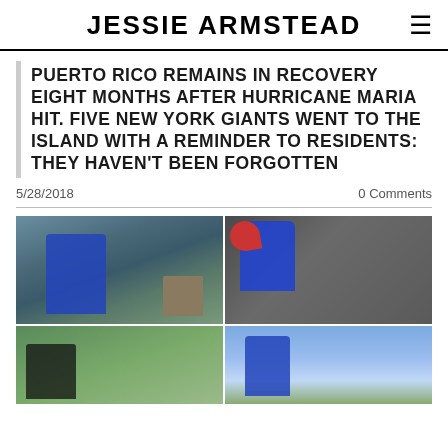JESSIE ARMSTEAD
PUERTO RICO REMAINS IN RECOVERY EIGHT MONTHS AFTER HURRICANE MARIA HIT. FIVE NEW YORK GIANTS WENT TO THE ISLAND WITH A REMINDER TO RESIDENTS: THEY HAVEN'T BEEN FORGOTTEN
5/28/2018
0 Comments
[Figure (photo): Four-panel photo grid showing New York Giants players in Puerto Rico during hurricane relief efforts. Top left: player in blue hoodie with number 24 in damaged building. Top right: player in red hat and blue shirt engaging with community members under a covered area. Bottom left: player speaking with local residents including a woman. Bottom right: players with number 29 celebrating outside with blue sky and clouds.]